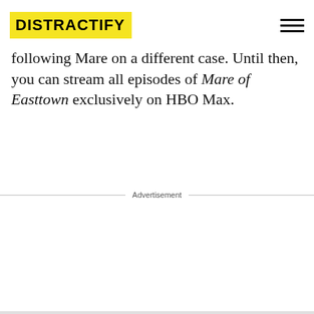DISTRACTIFY
following Mare on a different case. Until then, you can stream all episodes of Mare of Easttown exclusively on HBO Max.
Advertisement